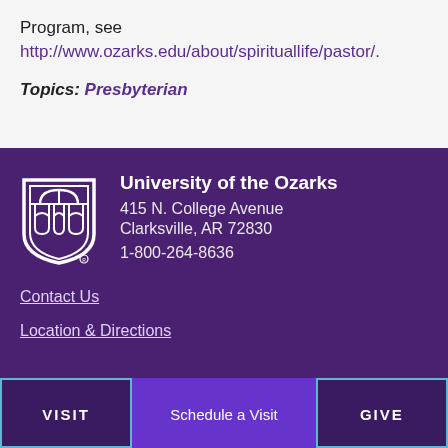Program, see http://www.ozarks.edu/about/spirituallife/pastor/.
Topics: Presbyterian
[Figure (logo): University of the Ozarks shield logo in white on purple background]
University of the Ozarks
415 N. College Avenue
Clarksville, AR 72830
1-800-264-8636
Contact Us
Location & Directions
VISIT
Schedule a Visit
GIVE